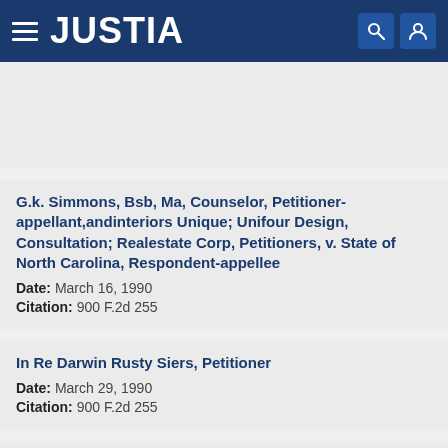JUSTIA
Date: February 7, 1990
Citation: 900 F.2d 255
G.k. Simmons, Bsb, Ma, Counselor, Petitioner-appellant,andinteriors Unique; Unifour Design, Consultation; Realestate Corp, Petitioners, v. State of North Carolina, Respondent-appellee
Date: March 16, 1990
Citation: 900 F.2d 255
In Re Darwin Rusty Siers, Petitioner
Date: March 29, 1990
Citation: 900 F.2d 255
In Re William Rosemond, Petitioner